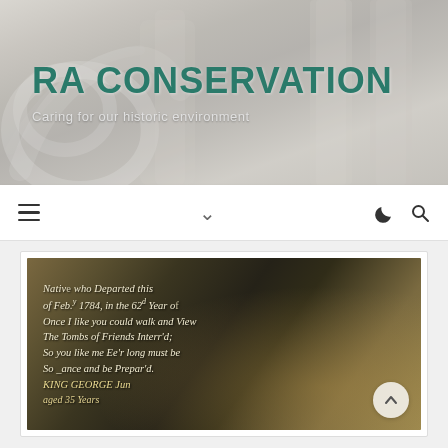[Figure (photo): Hero banner background showing white plaster architectural details including decorative scrollwork and classical columns]
RA CONSERVATION
Caring for our historic environment
[Figure (other): Navigation bar with hamburger menu icon on left, chevron down arrow in center, moon icon and search icon on right]
[Figure (photo): Close-up photograph of a historic gravestone with italic serif text reading: 'Nativ[e] who Departed this [Life] of Feb.y 1784, in the 62d Year [of] Once I like you could walk and View The Tombs of Friends Interr'd; So you like me Ee'r long must be So [r]ance and be Prepar'd. [KING GEORGE] [aged 35 Years]']